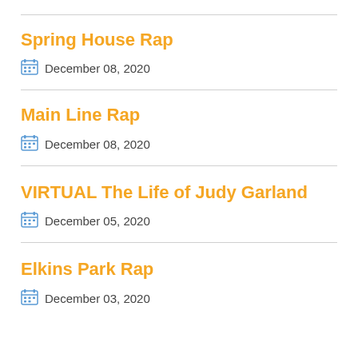Spring House Rap
December 08, 2020
Main Line Rap
December 08, 2020
VIRTUAL The Life of Judy Garland
December 05, 2020
Elkins Park Rap
December 03, 2020